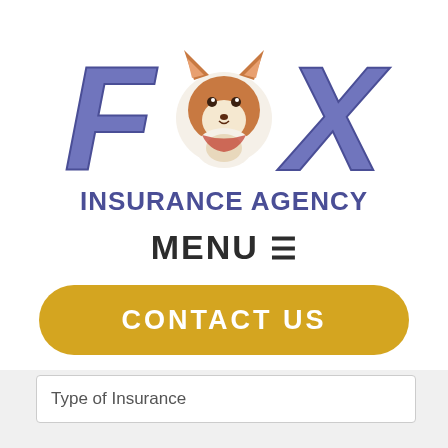[Figure (logo): Fox Insurance Agency logo with cartoon fox mascot between large stylized letters F and X in blue/purple, with INSURANCE AGENCY text below in dark blue]
MENU ☰
CONTACT US
Type of Insurance
GET A QUOTE